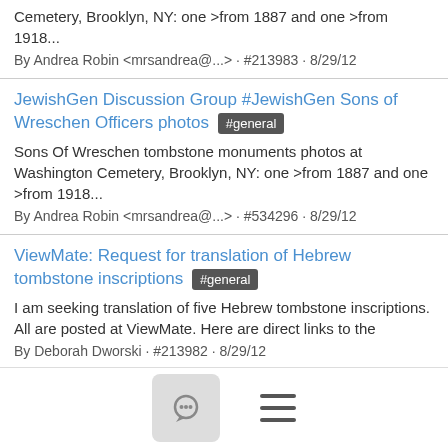Cemetery, Brooklyn, NY: one >from 1887 and one >from 1918...
By Andrea Robin <mrsandrea@...> · #213983 · 8/29/12
JewishGen Discussion Group #JewishGen Sons of Wreschen Officers photos #general
Sons Of Wreschen tombstone monuments photos at Washington Cemetery, Brooklyn, NY: one >from 1887 and one >from 1918...
By Andrea Robin <mrsandrea@...> · #534296 · 8/29/12
ViewMate: Request for translation of Hebrew tombstone inscriptions #general
I am seeking translation of five Hebrew tombstone inscriptions. All are posted at ViewMate. Here are direct links to the
By Deborah Dworski · #213982 · 8/29/12
JewishGen Discussion Group #JewishGen ViewMate: Request for translation of Hebrew tombstone inscriptions #general
I am seeking translation of five Hebrew tombstone inscriptions.